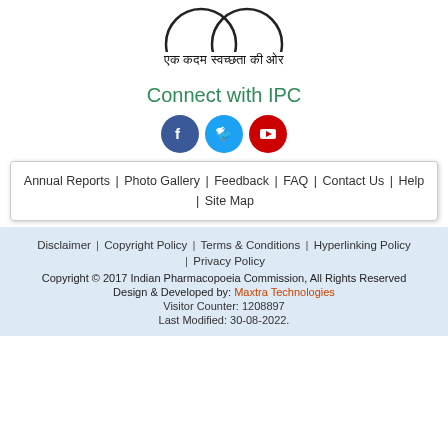[Figure (logo): IPC logo/emblem at top (partially visible)]
एक कदम स्वच्छता की ओर
Connect with IPC
[Figure (illustration): Social media icons: Facebook (blue circle), Twitter (blue circle), YouTube (red circle)]
Annual Reports  |  Photo Gallery  |  Feedback  |  FAQ  |  Contact Us  |  Help  |  Site Map
Disclaimer  |  Copyright Policy  |  Terms & Conditions  |  Hyperlinking Policy  |  Privacy Policy
Copyright © 2017 Indian Pharmacopoeia Commission, All Rights Reserved
Design & Developed by: Maxtra Technologies
Visitor Counter: 1208897
Last Modified: 30-08-2022.